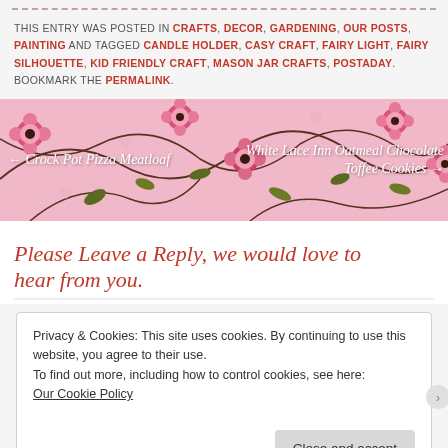THIS ENTRY WAS POSTED IN CRAFTS, DECOR, GARDENING, OUR POSTS, PAINTING AND TAGGED CANDLE HOLDER, CASY CRAFT, FAIRY LIGHT, FAIRY SILHOUETTE, KID FRIENDLY CRAFT, MASON JAR CRAFTS, POSTADAY. BOOKMARK THE PERMALINK.
[Figure (illustration): Floral banner with pink flowers and swirling vines on a pink background, with navigation links: left arrow to Crock Pot Pizza Meatloaf, right arrow to White Lace Inn Oatmeal Chocolate Toffee Cookies]
Please Leave a Reply, we would love to hear from you.
Privacy & Cookies: This site uses cookies. By continuing to use this website, you agree to their use.
To find out more, including how to control cookies, see here:
Our Cookie Policy